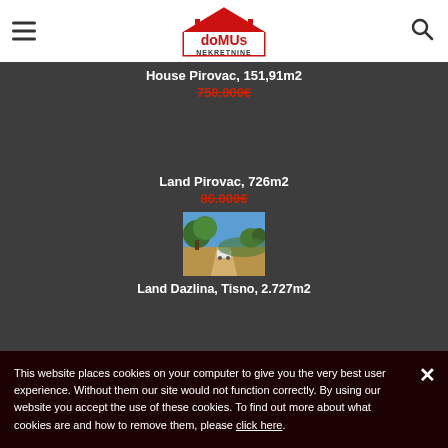doMUs Nekretnine logo, hamburger menu, search icon
House Pirovac, 151,91m2
750.000€
Land Pirovac, 726m2
80.000€
[Figure (photo): Outdoor landscape photo showing a dirt road with a vehicle and trees under blue sky, representing Land Dazlina property]
Land Dazlina, Tisno, 2.727m2
This website places cookies on your computer to give you the very best user experience. Without them our site would not function correctly. By using our website you accept the use of these cookies. To find out more about what cookies are and how to remove them, please click here.